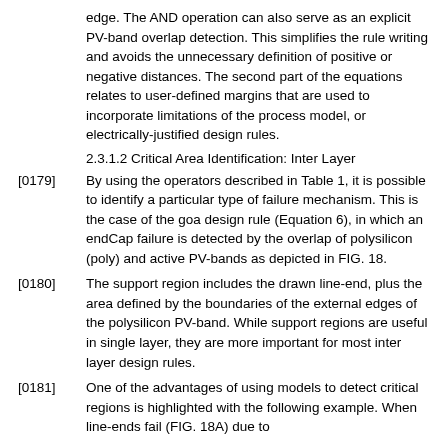edge. The AND operation can also serve as an explicit PV-band overlap detection. This simplifies the rule writing and avoids the unnecessary definition of positive or negative distances. The second part of the equations relates to user-defined margins that are used to incorporate limitations of the process model, or electrically-justified design rules.
2.3.1.2 Critical Area Identification: Inter Layer
[0179] By using the operators described in Table 1, it is possible to identify a particular type of failure mechanism. This is the case of the goa design rule (Equation 6), in which an endCap failure is detected by the overlap of polysilicon (poly) and active PV-bands as depicted in FIG. 18.
[0180] The support region includes the drawn line-end, plus the area defined by the boundaries of the external edges of the polysilicon PV-band. While support regions are useful in single layer, they are more important for most inter layer design rules.
[0181] One of the advantages of using models to detect critical regions is highlighted with the following example. When line-ends fail (FIG. 18A) due to